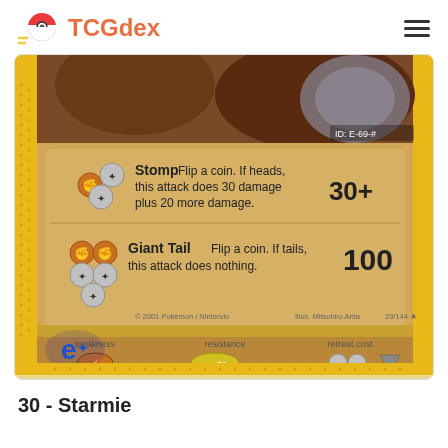TCGdex
[Figure (photo): Pokemon TCG card showing bottom half of a Starmie card (#29/144) with moves Stomp (30+ damage) and Giant Tail (100 damage), weakness, resistance, retreat cost. Illustrated by Mitsuhiro Arita. © 2001 Pokemon/Nintendo.]
30 - Starmie